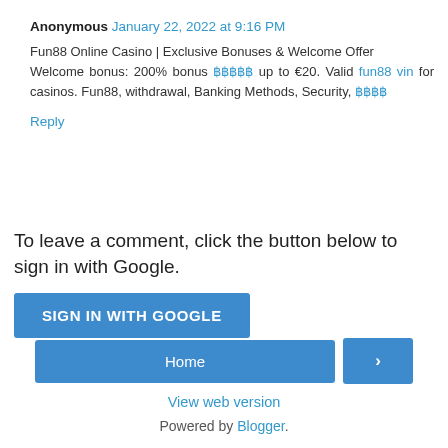Anonymous January 22, 2022 at 9:16 PM
Fun88 Online Casino | Exclusive Bonuses & Welcome Offer
Welcome bonus: 200% bonus ฿฿฿฿฿ up to €20. Valid fun88 vin for casinos. Fun88, withdrawal, Banking Methods, Security, ฿฿฿฿
Reply
To leave a comment, click the button below to sign in with Google.
SIGN IN WITH GOOGLE
Home
>
View web version
Powered by Blogger.